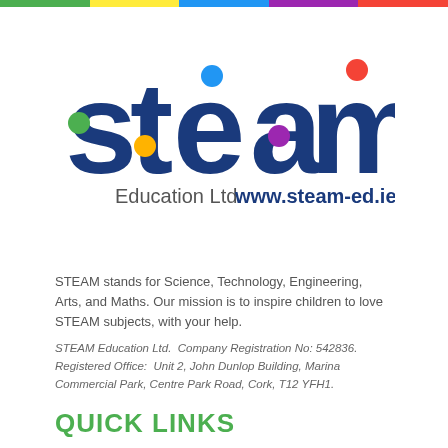[Figure (logo): STEAM Education Ltd. logo with colorful dots and text, and www.steam-ed.ie URL]
STEAM stands for Science, Technology, Engineering, Arts, and Maths. Our mission is to inspire children to love STEAM subjects, with your help.
STEAM Education Ltd.  Company Registration No: 542836. Registered Office:  Unit 2, John Dunlop Building, Marina Commercial Park, Centre Park Road, Cork, T12 YFH1.
QUICK LINKS